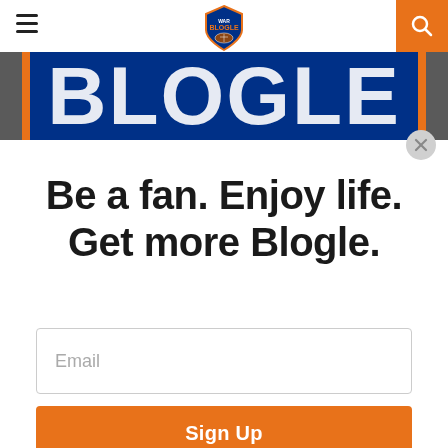[Figure (logo): War Blogle shield logo at top center of page header]
[Figure (photo): Auburn jersey banner image with orange and navy stripes across the top]
Be a fan. Enjoy life. Get more Blogle.
Email
Sign Up